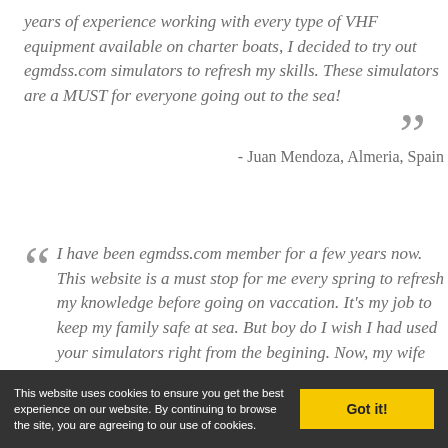years of experience working with every type of VHF equipment available on charter boats, I decided to try out egmdss.com simulators to refresh my skills. These simulators are a MUST for everyone going out to the sea!
- Juan Mendoza, Almeria, Spain
I have been egmdss.com member for a few years now. This website is a must stop for me every spring to refresh my knowledge before going on vaccation. It's my job to keep my family safe at sea. But boy do I wish I had used your simulators right from the begining. Now, my wife has trouble keeping me away from computer, it's like playing games for me, only with a good excuse for greater
This website uses cookies to ensure you get the best experience on our website. By continuing to browse the site, you are agreeing to our use of cookies.